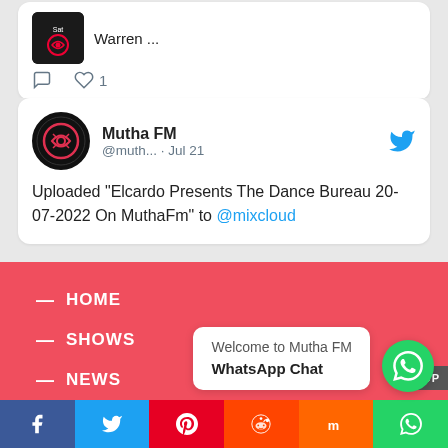[Figure (screenshot): Partial tweet card showing thumbnail image and 'Warren ...' text with comment and like (1) icons]
[Figure (screenshot): Tweet from Mutha FM (@muth...) dated Jul 21 with Twitter bird icon, avatar showing Mutha FM logo, text: Uploaded 'Elcardo Presents The Dance Bureau 20-07-2022 On MuthaFm' to @mixcloud]
HOME
SHOWS
NEWS
Welcome to Mutha FM WhatsApp Chat
Facebook Twitter Pinterest Reddit Mix WhatsApp More